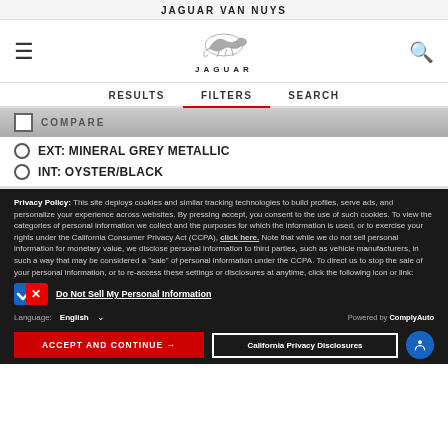JAGUAR VAN NUYS
[Figure (logo): Jaguar leaping cat logo with JAGUAR wordmark]
RESULTS   FILTERS   SEARCH
COMPARE
EXT: MINERAL GREY METALLIC
INT: OYSTER/BLACK
Privacy Policy: This site deploys cookies and similar tracking technologies to build profiles, serve ads, and personalize your experience across websites. By pressing accept, you consent to the use of such cookies. To view the categories of personal information we collect and the purposes for which the information is used, or to exercise your rights under the California Consumer Privacy Act (CCPA), click here. Note that while we do not sell personal information for monetary value, we disclose personal information to third parties, such as vehicle manufacturers, in such a way that may be considered a "sale" of personal information under the CCPA. To direct us to stop the sale of your personal information, or to re-access these settings or disclosures at anytime, click the following icon or link:
Do Not Sell My Personal Information
Language: English
Powered by ComplyAuto
ACCEPT AND CONTINUE →
California Privacy Disclosures